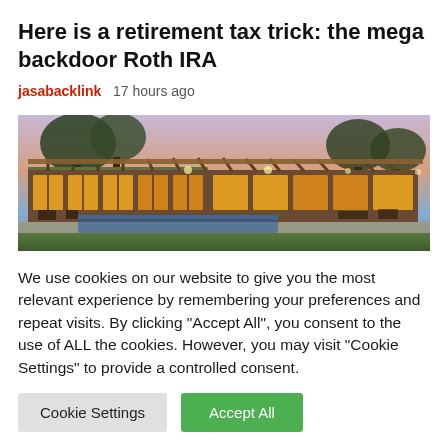Here is a retirement tax trick: the mega backdoor Roth IRA
jasabacklink   17 hours ago
[Figure (photo): Exterior photo of a modern ranch-style house at dusk, with warm interior lighting, large glass windows, a covered patio, swimming pool in the foreground, and trees in the background under a pink/blue sky.]
We use cookies on our website to give you the most relevant experience by remembering your preferences and repeat visits. By clicking “Accept All”, you consent to the use of ALL the cookies. However, you may visit "Cookie Settings" to provide a controlled consent.
Cookie Settings   Accept All